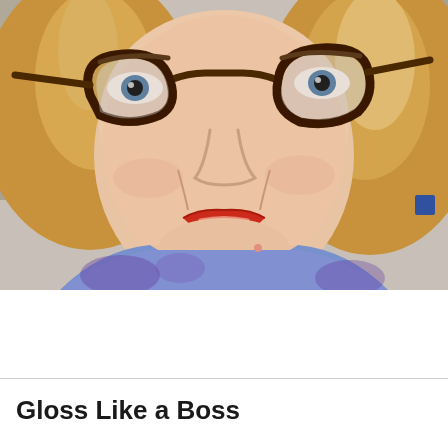[Figure (photo): Selfie of a woman with shoulder-length strawberry blonde hair, tortoiseshell cat-eye glasses, red lipstick, wearing a blue/purple patterned top and a gold chain necklace. Office background visible. Close-up face and upper body shot.]
Gloss Like a Boss